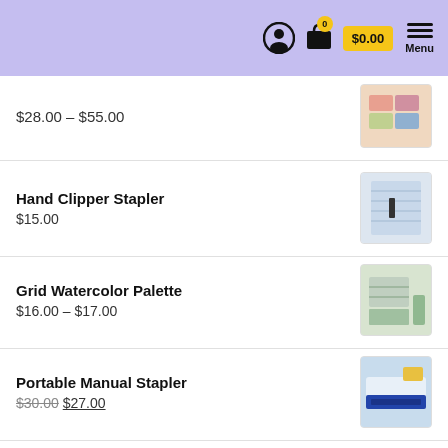$0.00 Menu
$28.00 – $55.00
Hand Clipper Stapler
$15.00
Grid Watercolor Palette
$16.00 – $17.00
Portable Manual Stapler
$30.00 $27.00
TERMS AND CONDITIONS
About Us
Privacy Policy
Terms and Conditions